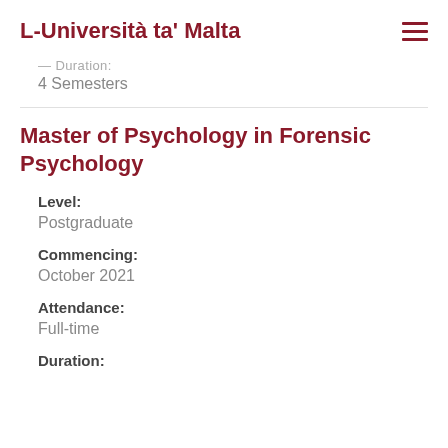L-Università ta' Malta
Duration:
4 Semesters
Master of Psychology in Forensic Psychology
Level:
Postgraduate
Commencing:
October 2021
Attendance:
Full-time
Duration: